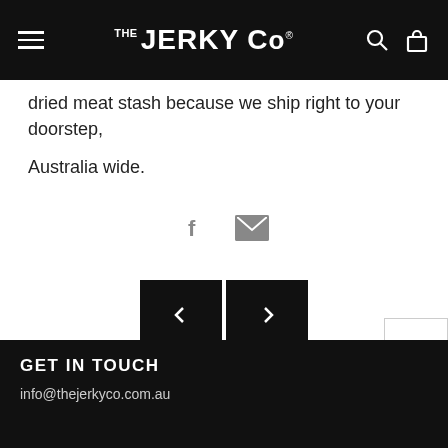THE JERKY CO®
dried meat stash because we ship right to your doorstep, Australia wide.
[Figure (other): Social sharing icons: Facebook (f) and email (envelope)]
[Figure (other): Navigation previous/next arrow buttons (< and >)]
GET IN TOUCH
info@thejerkyco.com.au